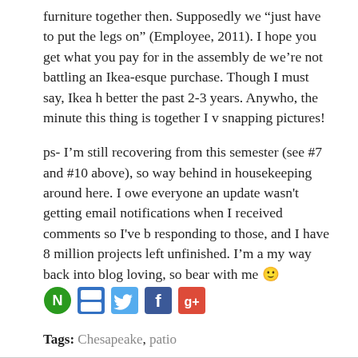furniture together then. Supposedly we “just have to put the legs on” (Employee, 2011). I hope you get what you pay for in the assembly de... we're not battling an Ikea-esque purchase. Though I must say, Ikea h... better the past 2-3 years. Anywho, the minute this thing is together I v... snapping pictures!
ps- I’m still recovering from this semester (see #7 and #10 above), so... way behind in housekeeping around here. I owe everyone an update... wasn't getting email notifications when I received comments so I've b... responding to those, and I have 8 million projects left unfinished. I'm a... my way back into blog loving, so bear with me 🙂
[Figure (other): Social sharing icons: Networked Blogs (green), Delicious (blue/white), Twitter (blue bird), Facebook (blue f), Google+ (red/blue/green/yellow)]
Tags: Chesapeake, patio
outdoor space, Pottery Barn, sneak peeks, uncategorized
7 Responses to “The End of an Era”